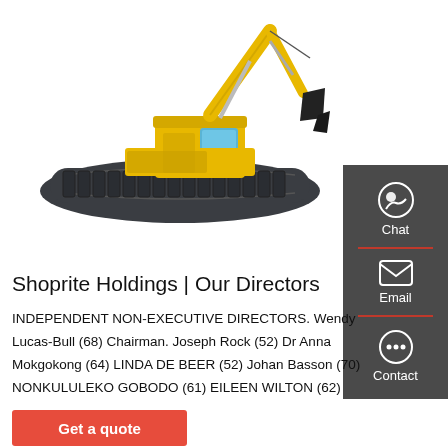[Figure (photo): Yellow and dark grey amphibious excavator on a white background]
Shoprite Holdings | Our Directors
INDEPENDENT NON-EXECUTIVE DIRECTORS. Wendy Lucas-Bull (68) Chairman. Joseph Rock (52) Dr Anna Mokgokong (64) LINDA DE BEER (52) Johan Basson (70) NONKULULEKO GOBODO (61) EILEEN WILTON (62)
Get a quote